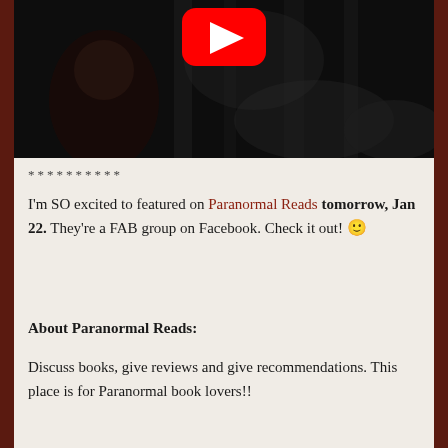[Figure (screenshot): YouTube video thumbnail showing a dark, moody black-and-white forest scene with a woman and a red YouTube play button overlay]
**********
I'm SO excited to featured on Paranormal Reads tomorrow, Jan 22. They're a FAB group on Facebook. Check it out! 🙂
About Paranormal Reads:
Discuss books, give reviews and give recommendations. This place is for Paranormal book lovers!!